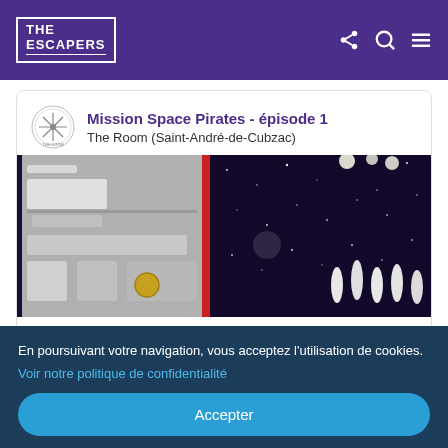THE ESCAPERS
Mission Space Pirates - épisode 1
The Room (Saint-André-de-Cubzac)
[Figure (photo): Interior photo of escape room with space theme: left side shows white/grey control panels, right side shows dark starfield background with white rocket/bullet shapes]
[Figure (infographic): Five pink/red star rating icons displayed in a row]
En poursuivant votre navigation, vous acceptez l'utilisation de cookies.
Voir notre politique de confidentialité
Accepter